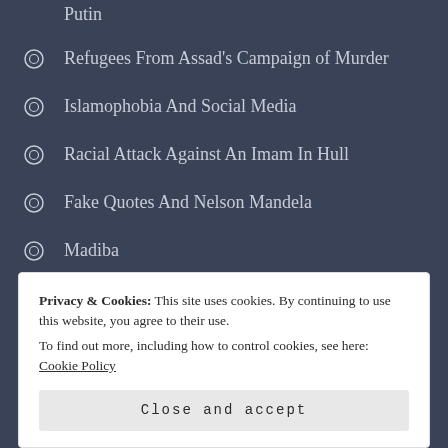Putin
Refugees From Assad's Campaign of Murder
Islamophobia And Social Media
Racial Attack Against An Imam In Hull
Fake Quotes And Nelson Mandela
Madiba
Muslims, The Media And Poor Reporting
Over at Tumblr Too!
World Socialist Web Site: Doing PR for Assad
Privacy & Cookies: This site uses cookies. By continuing to use this website, you agree to their use.
To find out more, including how to control cookies, see here: Cookie Policy
Close and accept